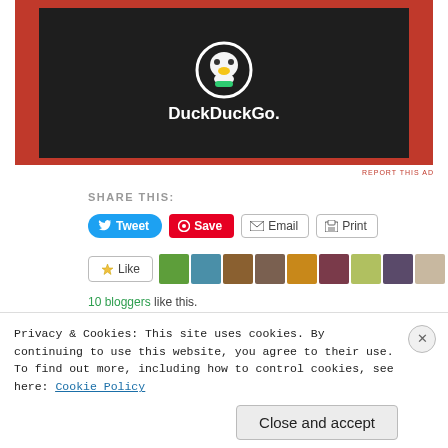[Figure (screenshot): DuckDuckGo advertisement banner with red background and dark center showing DuckDuckGo logo and name]
REPORT THIS AD
SHARE THIS:
Tweet  Save  Email  Print
Like
10 bloggers like this.
RELATED
[Figure (photo): Related article thumbnail - nature/forest scene]
[Figure (logo): MAYO logo/text]
Privacy & Cookies: This site uses cookies. By continuing to use this website, you agree to their use.
To find out more, including how to control cookies, see here: Cookie Policy
Close and accept